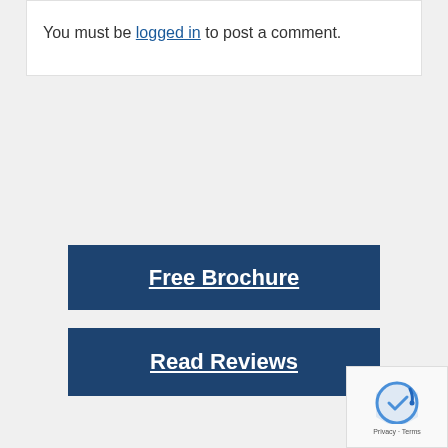You must be logged in to post a comment.
Free Brochure
Read Reviews